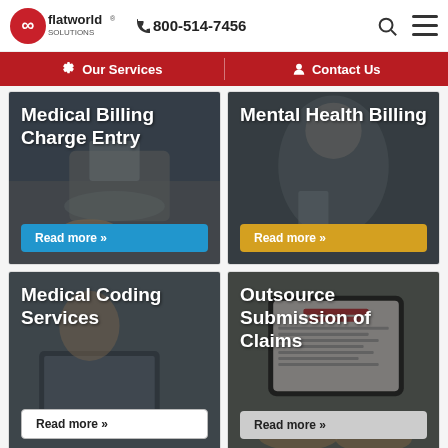[Figure (logo): Flatworld Solutions logo with infinity symbol and red branding]
800-514-7456
Our Services | Contact Us
[Figure (photo): Medical Billing Charge Entry - person using tablet at desk with stethoscope]
Medical Billing Charge Entry
Read more »
[Figure (photo): Mental Health Billing - healthcare professional with stethoscope]
Mental Health Billing
Read more »
[Figure (photo): Medical Coding Services - smiling woman with laptop]
Medical Coding Services
Read more »
[Figure (photo): Outsource Submission of Claims - Medical Insurance Claim Form on tablet, hands typing]
Outsource Submission of Claims
Read more »